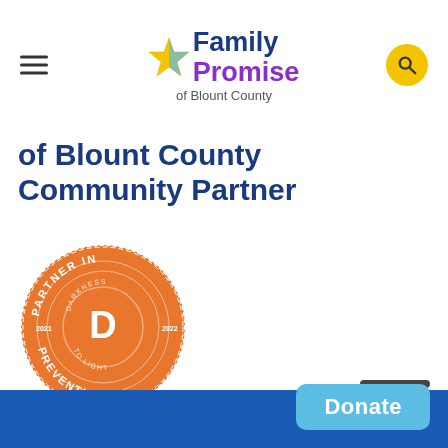[Figure (logo): Family Promise of Blount County logo with star icon, hamburger menu, and search button]
of Blount County Community Partner
[Figure (logo): Darkness to Light Partner in Prevention orange badge/seal]
Donate